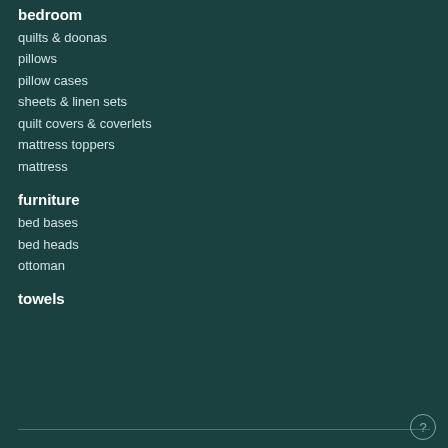bedroom
quilts & doonas
pillows
pillow cases
sheets & linen sets
quilt covers & coverlets
mattress toppers
mattress
furniture
bed bases
bed heads
ottoman
towels